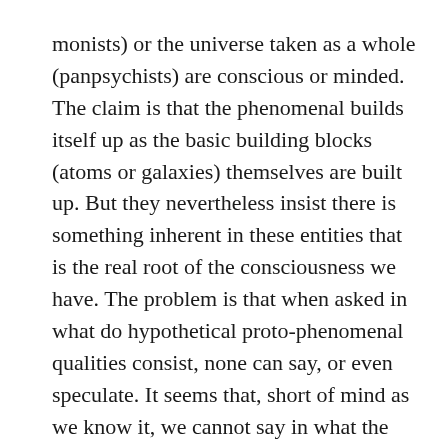monists) or the universe taken as a whole (panpsychists) are conscious or minded. The claim is that the phenomenal builds itself up as the basic building blocks (atoms or galaxies) themselves are built up. But they nevertheless insist there is something inherent in these entities that is the real root of the consciousness we have. The problem is that when asked in what do hypothetical proto-phenomenal qualities consist, none can say, or even speculate. It seems that, short of mind as we know it, we cannot say in what the proto-phenomenal consists.
How does my view help? It does not explain the interaction mechanism. It does account for the reason the mechanism cannot be explained by mind of our type. It does, however, account for why we cannot give any account of that in which the